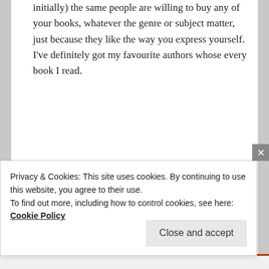initially) the same people are willing to buy any of your books, whatever the genre or subject matter, just because they like the way you express yourself. I've definitely got my favourite authors whose every book I read.
★ Liked by 2 people
Reply ↓
Sarah Potter Writes on August 11, 2016 at 1:41 pm said:
Privacy & Cookies: This site uses cookies. By continuing to use this website, you agree to their use.
To find out more, including how to control cookies, see here: Cookie Policy